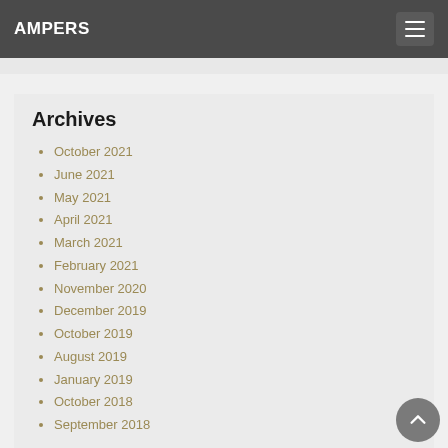AMPERS
Archives
October 2021
June 2021
May 2021
April 2021
March 2021
February 2021
November 2020
December 2019
October 2019
August 2019
January 2019
October 2018
September 2018